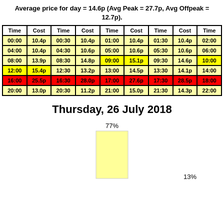Average price for day = 14.6p (Avg Peak = 27.7p, Avg Offpeak = 12.7p).
| Time | Cost | Time | Cost | Time | Cost | Time | Cost | Time |
| --- | --- | --- | --- | --- | --- | --- | --- | --- |
| 00:00 | 10.4p | 00:30 | 10.4p | 01:00 | 10.4p | 01:30 | 10.4p | 02:00 |
| 04:00 | 10.4p | 04:30 | 10.6p | 05:00 | 10.6p | 05:30 | 10.6p | 06:00 |
| 08:00 | 13.9p | 08:30 | 14.8p | 09:00 | 15.1p | 09:30 | 14.6p | 10:00 |
| 12:00 | 15.4p | 12:30 | 13.2p | 13:00 | 14.5p | 13:30 | 14.1p | 14:00 |
| 16:00 | 25.5p | 16:30 | 28.0p | 17:00 | 27.6p | 17:30 | 28.5p | 18:00 |
| 20:00 | 13.0p | 20:30 | 11.2p | 21:00 | 15.0p | 21:30 | 14.3p | 22:00 |
Thursday, 26 July 2018
[Figure (bar-chart): Partial bar chart showing 77% and 13% labels]